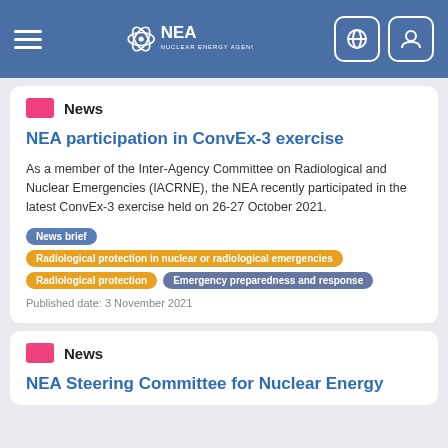NEA Nuclear Energy Agency
News
NEA participation in ConvEx-3 exercise
As a member of the Inter-Agency Committee on Radiological and Nuclear Emergencies (IACRNE), the NEA recently participated in the latest ConvEx-3 exercise held on 26-27 October 2021.
News brief | Radiological protection in nuclear or radiological emergencies | Radiological protection | Emergency preparedness and response
Published date: 3 November 2021
News
NEA Steering Committee for Nuclear Energy